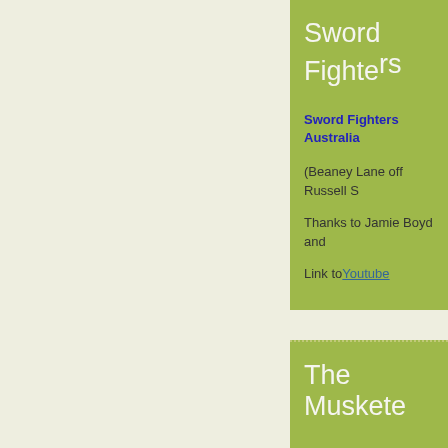Sword Fighte...
Sword Fighters Australia
(Beaney Lane off Russell S...
Thanks to Jamie Boyd and ...
Link to Youtube
August 2nd, 2011
Categories: Fencing Artistic, ...
The Muskete...
The new movie is being rel...